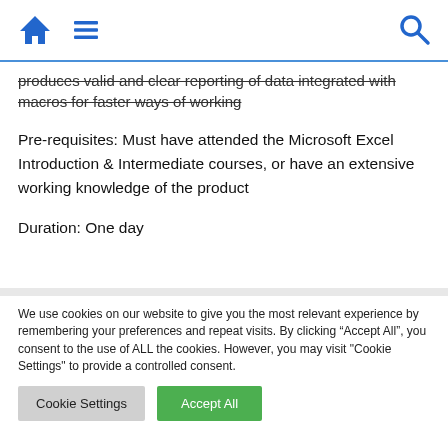[navigation bar with home, menu, and search icons]
produces valid and clear reporting of data integrated with macros for faster ways of working
Pre-requisites: Must have attended the Microsoft Excel Introduction & Intermediate courses, or have an extensive working knowledge of the product
Duration: One day
We use cookies on our website to give you the most relevant experience by remembering your preferences and repeat visits. By clicking “Accept All”, you consent to the use of ALL the cookies. However, you may visit "Cookie Settings" to provide a controlled consent.